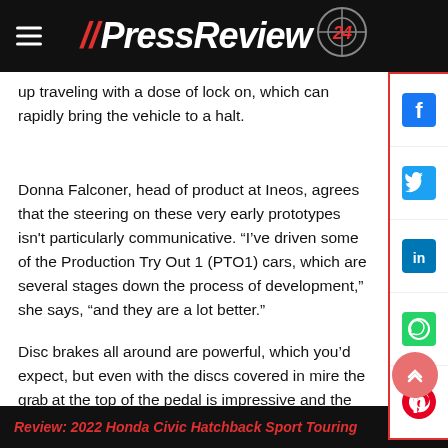// PressReview 24
up traveling with a dose of lock on, which can rapidly bring the vehicle to a halt.
Donna Falconer, head of product at Ineos, agrees that the steering on these very early prototypes isn't particularly communicative. “I've driven some of the Production Try Out 1 (PTO1) cars, which are several stages down the process of development,” she says, “and they are a lot better.”
Disc brakes all around are powerful, which you’d expect, but even with the discs covered in mire the grab at the top of the pedal is impressive and the progression as you push harder is full of feedback.
Review: 2022 Honda Civic Hatchback Sport Touring